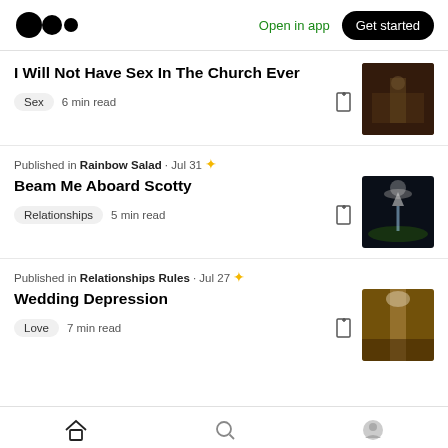Medium logo | Open in app | Get started
I Will Not Have Sex In The Church Ever
Sex  6 min read
Published in Rainbow Salad · Jul 31
Beam Me Aboard Scotty
Relationships  5 min read
Published in Relationships Rules · Jul 27
Wedding Depression
Love  7 min read
Home | Search | Profile